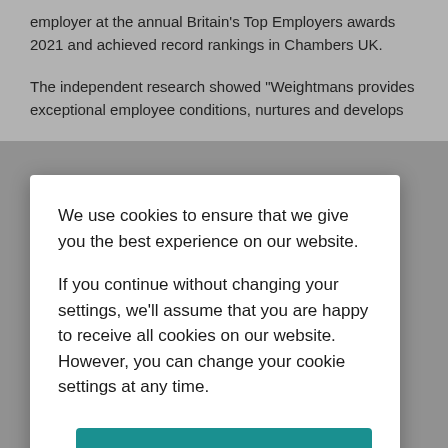employer at the annual Britain's Top Employers awards 2021 and achieved record rankings in Chambers UK.
The independent research showed "Weightmans provides exceptional employee conditions, nurtures and develops
We use cookies to ensure that we give you the best experience on our website.
If you continue without changing your settings, we'll assume that you are happy to receive all cookies on our website. However, you can change your cookie settings at any time.
Accept Cookies Policy